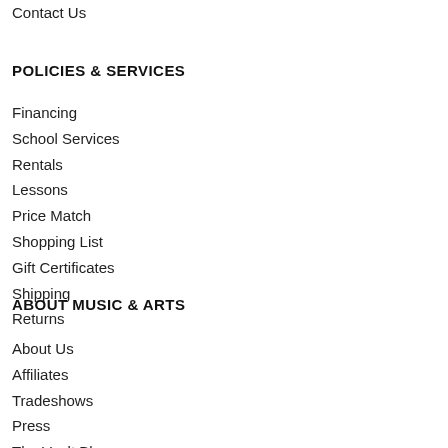Contact Us
POLICIES & SERVICES
Financing
School Services
Rentals
Lessons
Price Match
Shopping List
Gift Certificates
Shipping
Returns
ABOUT MUSIC & ARTS
About Us
Affiliates
Tradeshows
Press
The Vault Blog
Find a Store
Careers